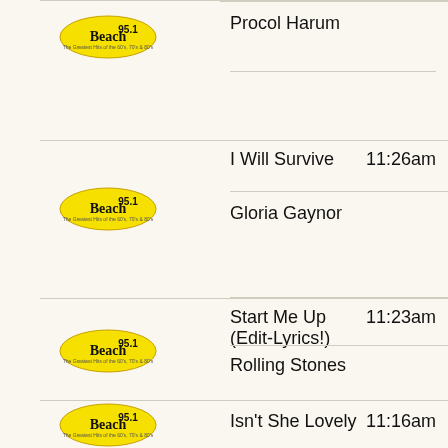[Figure (logo): Beach 95.1 radio station logo - yellow oval with black script text]
Procol Harum
[Figure (logo): Beach 95.1 radio station logo - yellow oval with black script text]
I Will Survive    11:26am
Gloria Gaynor
[Figure (logo): Beach 95.1 radio station logo - yellow oval with black script text]
Start Me Up (Edit-Lyrics!)    11:23am
Rolling Stones
[Figure (logo): Beach 95.1 radio station logo - yellow oval with black script text]
Isn't She Lovely    11:16am